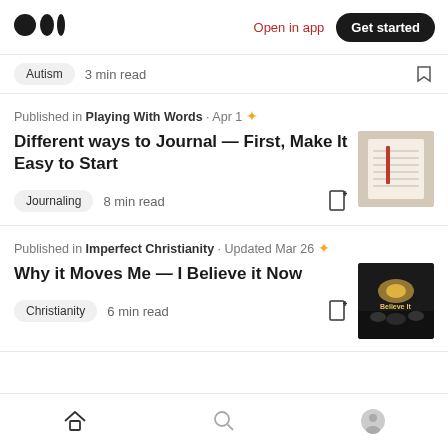Medium logo | Open in app | Get started
Autism  3 min read
Published in Playing With Words · Apr 1 ✦
Different ways to Journal — First, Make It Easy to Start
Journaling  8 min read
Published in Imperfect Christianity · Updated Mar 26 ✦
Why it Moves Me — I Believe it Now
Christianity  6 min read
Home | Search | Profile